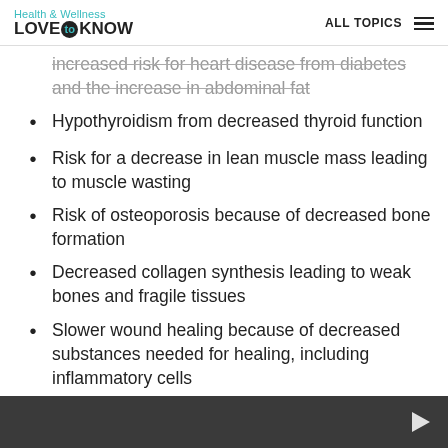Health & Wellness LOVE to KNOW | ALL TOPICS
Increased risk for heart disease from diabetes and the increase in abdominal fat
Hypothyroidism from decreased thyroid function
Risk for a decrease in lean muscle mass leading to muscle wasting
Risk of osteoporosis because of decreased bone formation
Decreased collagen synthesis leading to weak bones and fragile tissues
Slower wound healing because of decreased substances needed for healing, including inflammatory cells